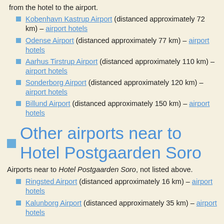Postgaarden Soro are sorted by the approximate distance from the hotel to the airport.
Kobenhavn Kastrup Airport (distanced approximately 72 km) – airport hotels
Odense Airport (distanced approximately 77 km) – airport hotels
Aarhus Tirstrup Airport (distanced approximately 110 km) – airport hotels
Sonderborg Airport (distanced approximately 120 km) – airport hotels
Billund Airport (distanced approximately 150 km) – airport hotels
Other airports near to Hotel Postgaarden Soro
Airports near to Hotel Postgaarden Soro, not listed above.
Ringsted Airport (distanced approximately 16 km) – airport hotels
Kalunborg Airport (distanced approximately 35 km) – airport hotels